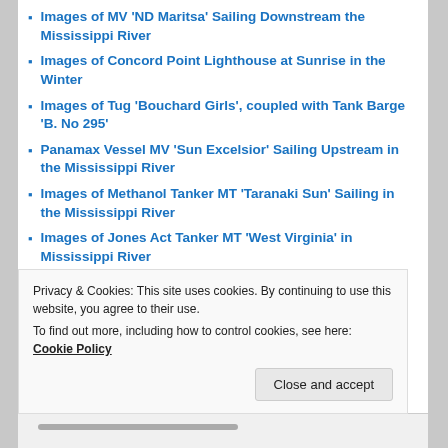Images of MV 'ND Maritsa' Sailing Downstream the Mississippi River
Images of Concord Point Lighthouse at Sunrise in the Winter
Images of Tug 'Bouchard Girls', coupled with Tank Barge 'B. No 295'
Panamax Vessel MV 'Sun Excelsior' Sailing Upstream in the Mississippi River
Images of Methanol Tanker MT 'Taranaki Sun' Sailing in the Mississippi River
Images of Jones Act Tanker MT 'West Virginia' in Mississippi River
Images of Jones Act Tanker MT 'American Pride' in the Mississippi River
Privacy & Cookies: This site uses cookies. By continuing to use this website, you agree to their use.
To find out more, including how to control cookies, see here: Cookie Policy